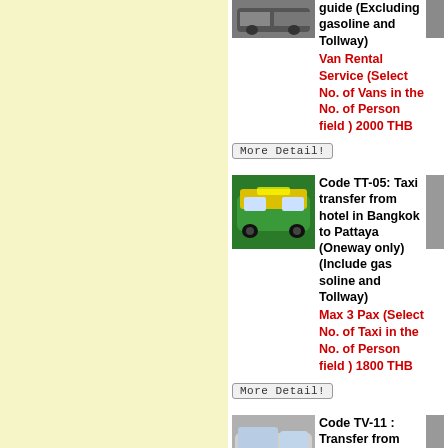[Figure (photo): Van vehicle photo thumbnail]
guide (Excluding gasoline and Tollway)
Van Rental Service (Select No. of Vans in the No. of Person field ) 2000 THB
More Detail!
[Figure (photo): Green and yellow taxi car photo thumbnail]
Code TT-05: Taxi transfer from hotel in Bangkok to Pattaya (Oneway only) (Include gas soline and Tollway)
Max 3 Pax (Select No. of Taxi in the No. of Person field ) 1800 THB
More Detail!
[Figure (photo): Silver van / minibus photo thumbnail]
Code TV-11 : Transfer from Don Muang Airport to Pattaya (Oneway only) (Include gas soline and Tollway)
Taxi/max 3 pax (Select No. of Taxi in the No. of Person field ) 1900 THB
More Detail!